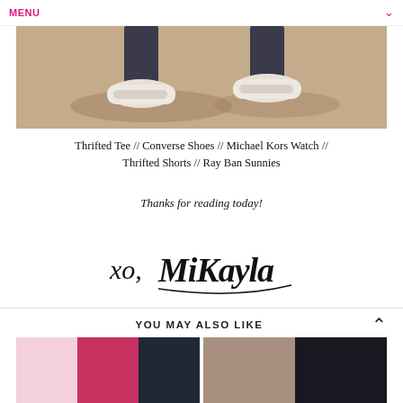MENU
[Figure (photo): Close-up photo of a person's feet wearing white Converse sneakers, walking on a sandy/paved surface with shadows]
Thrifted Tee // Converse Shoes // Michael Kors Watch // Thrifted Shorts // Ray Ban Sunnies
Thanks for reading today!
[Figure (illustration): Handwritten signature reading 'xo, MiKayla']
YOU MAY ALSO LIKE
[Figure (photo): Thumbnail images: two small preview photos on the left (pink/lifestyle content) and two on the right (portrait/lifestyle content)]